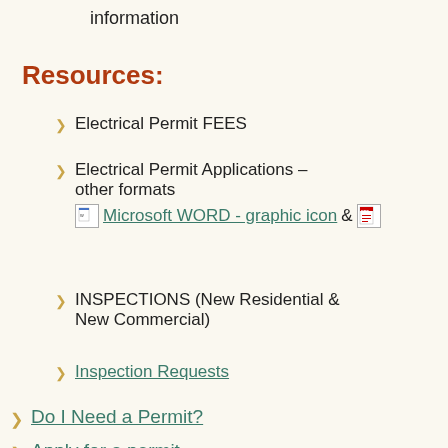information
Resources:
Electrical Permit FEES
Electrical Permit Applications – other formats [Microsoft WORD - graphic icon] & [PDF icon]
INSPECTIONS (New Residential & New Commercial)
Inspection Requests
Do I Need a Permit?
Apply for a permit